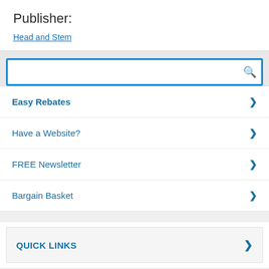Publisher:
Head and Stem
[Figure (screenshot): Search box with blue border and magnifying glass icon]
Easy Rebates
Have a Website?
FREE Newsletter
Bargain Basket
QUICK LINKS
CUSTOMER SERVICE